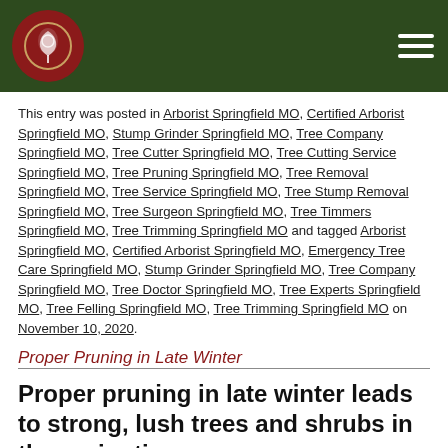[Logo + navigation header bar]
This entry was posted in Arborist Springfield MO, Certified Arborist Springfield MO, Stump Grinder Springfield MO, Tree Company Springfield MO, Tree Cutter Springfield MO, Tree Cutting Service Springfield MO, Tree Pruning Springfield MO, Tree Removal Springfield MO, Tree Service Springfield MO, Tree Stump Removal Springfield MO, Tree Surgeon Springfield MO, Tree Timmers Springfield MO, Tree Trimming Springfield MO and tagged Arborist Springfield MO, Certified Arborist Springfield MO, Emergency Tree Care Springfield MO, Stump Grinder Springfield MO, Tree Company Springfield MO, Tree Doctor Springfield MO, Tree Experts Springfield MO, Tree Felling Springfield MO, Tree Trimming Springfield MO on November 10, 2020.
Proper Pruning in Late Winter
Proper pruning in late winter leads to strong, lush trees and shrubs in the springtime
Pruning cuts are made slightly beyond